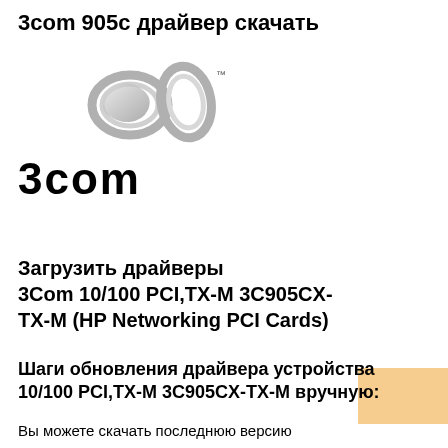3com 905c драйвер скачать
[Figure (logo): 3Com logo with two interlinked rings above and the word '3com' in large bold text below]
Загрузить драйверы 3Com 10/100 PCI,TX-M 3C905CX-TX-M (HP Networking PCI Cards)
Шаги обновления драйвера устройства 10/100 PCI,TX-M 3C905CX-TX-M вручную:
Вы можете скачать последнюю версию